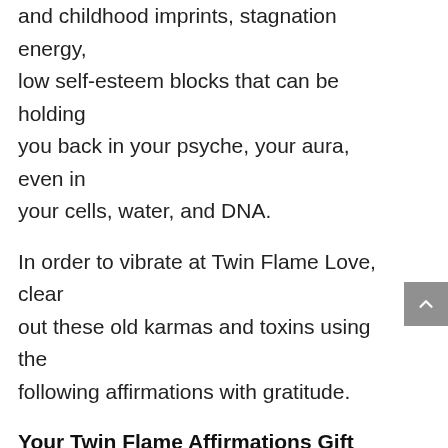and childhood imprints, stagnation energy, low self-esteem blocks that can be holding you back in your psyche, your aura, even in your cells, water, and DNA.
In order to vibrate at Twin Flame Love, clear out these old karmas and toxins using the following affirmations with gratitude.
Your Twin Flame Affirmations Gift Pack includes the following:
11 Self-Love Affirmations, and my #1 Twin Flame Gratitude Affirmation to amplify your results.
7 Twin Flame Affirmations
TF Affirmations Print Out (Suggestion: place it on your mirror)